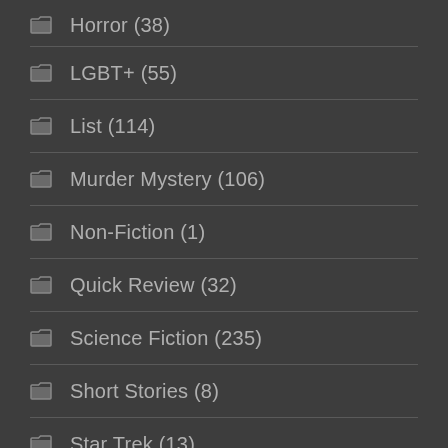Horror (38)
LGBT+ (55)
List (114)
Murder Mystery (106)
Non-Fiction (1)
Quick Review (32)
Science Fiction (235)
Short Stories (8)
Star Trek (13)
Star Wars (65)